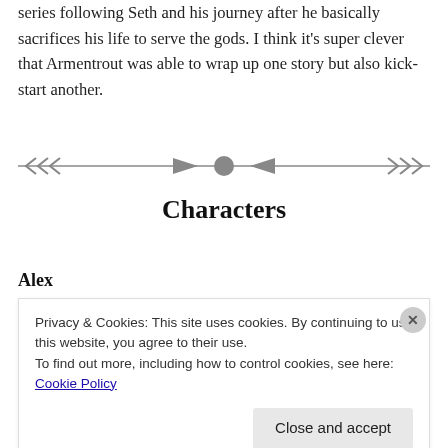series following Seth and his journey after he basically sacrifices his life to serve the gods. I think it's super clever that Armentrout was able to wrap up one story but also kick-start another.
[Figure (illustration): Decorative horizontal divider with arrow motifs on both ends, two triangular arrow shapes pointing inward toward a central filled circle]
Characters
Alex
Privacy & Cookies: This site uses cookies. By continuing to use this website, you agree to their use.
To find out more, including how to control cookies, see here: Cookie Policy
Close and accept